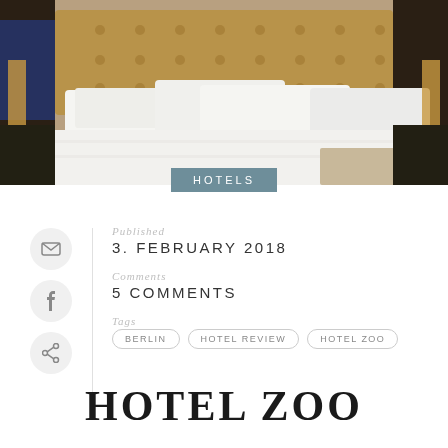[Figure (photo): Hotel bedroom with tufted leather headboard and white pillows/bedding on a large bed, dark side tables with lighting]
HOTELS
Published
3. FEBRUARY 2018
Comments
5 COMMENTS
Tags
BERLIN  HOTEL REVIEW  HOTEL ZOO
HOTEL ZOO